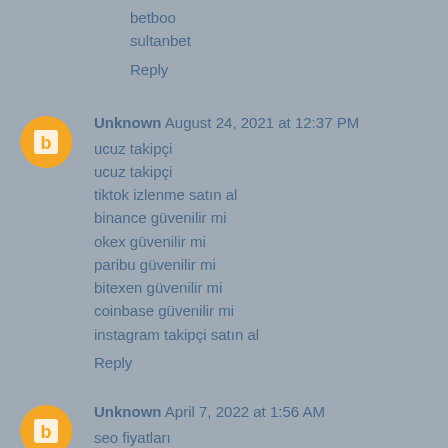betboo
sultanbet
Reply
Unknown August 24, 2021 at 12:37 PM
ucuz takipçi
ucuz takipçi
tiktok izlenme satın al
binance güvenilir mi
okex güvenilir mi
paribu güvenilir mi
bitexen güvenilir mi
coinbase güvenilir mi
instagram takipçi satın al
Reply
Unknown April 7, 2022 at 1:56 AM
seo fiyatları
saç ekimi